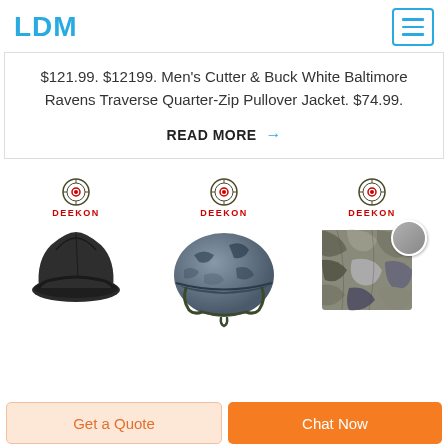LDM
$121.99. $12199. Men's Cutter & Buck White Baltimore Ravens Traverse Quarter-Zip Pullover Jacket. $74.99.
READ MORE →
[Figure (photo): Three military/tactical product items each with DEEKON branding: a dark military cap, a camouflage helmet with chin strap, and a camouflage fabric/material swatch with a small circular color sample.]
Get a Quote
Chat Now